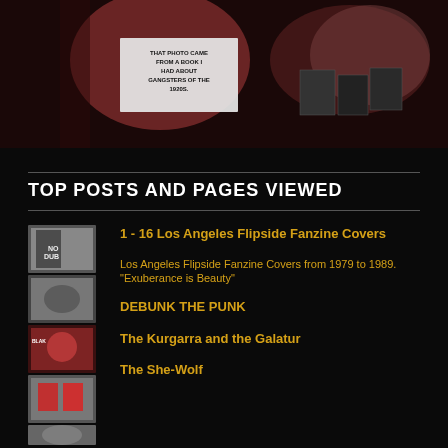[Figure (photo): Photo of person holding up punk fanzine covers and images, with text overlay reading 'That photo came from a book I had about gangsters of the 1920s.' Labels visible: 'Original Punk Staff Larry Lash', 'Steven Shoemaker']
TOP POSTS AND PAGES VIEWED
[Figure (photo): Collage of Los Angeles Flipside Fanzine cover thumbnails]
1 - 16 Los Angeles Flipside Fanzine Covers
Los Angeles Flipside Fanzine Covers from 1979 to 1989.
"Exuberance is Beauty"
DEBUNK THE PUNK
The Kurgarra and the Galatur
The She-Wolf